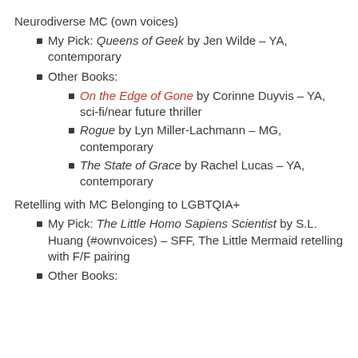Neurodiverse MC (own voices)
My Pick: Queens of Geek by Jen Wilde – YA, contemporary
Other Books:
On the Edge of Gone by Corinne Duyvis – YA, sci-fi/near future thriller
Rogue by Lyn Miller-Lachmann – MG, contemporary
The State of Grace by Rachel Lucas – YA, contemporary
Retelling with MC Belonging to LGBTQIA+
My Pick: The Little Homo Sapiens Scientist by S.L. Huang (#ownvoices) – SFF, The Little Mermaid retelling with F/F pairing
Other Books: